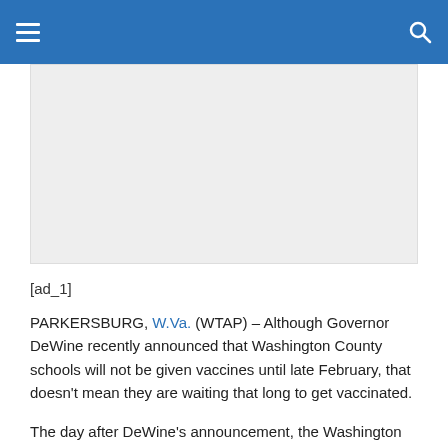Navigation bar with hamburger menu and search icon
[Figure (other): Gray advertisement placeholder box]
[ad_1]
PARKERSBURG, W.Va. (WTAP) – Although Governor DeWine recently announced that Washington County schools will not be given vaccines until late February, that doesn't mean they are waiting that long to get vaccinated.
The day after DeWine's announcement, the Washington County Health